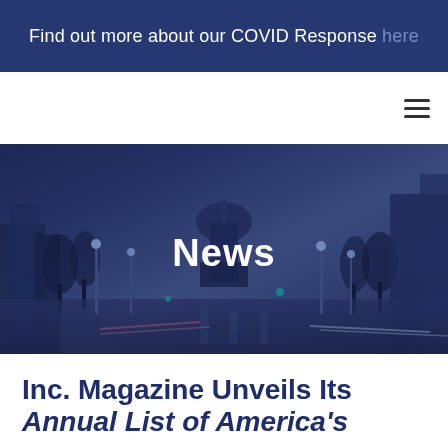Find out more about our COVID Response here
[Figure (photo): Washington D.C. cityscape at dusk with Capitol Building dome visible at center, street lights reflecting on wet pavement, purple-blue overlay. Large white bold text 'News' centered over the image.]
Inc. Magazine Unveils Its Annual List of America's